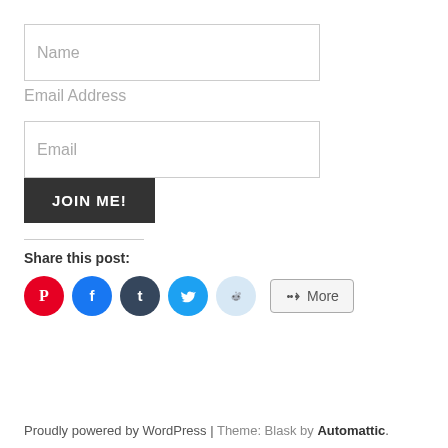[Figure (screenshot): Name input field (text box with placeholder 'Name')]
Email Address
[Figure (screenshot): Email input field (text box with placeholder 'Email')]
[Figure (screenshot): JOIN ME! dark button]
Share this post:
[Figure (infographic): Social share buttons: Pinterest (red circle), Facebook (blue circle), Tumblr (dark navy circle), Twitter (light blue circle), Reddit (light blue circle), and a 'More' button]
Proudly powered by WordPress | Theme: Blask by Automattic.